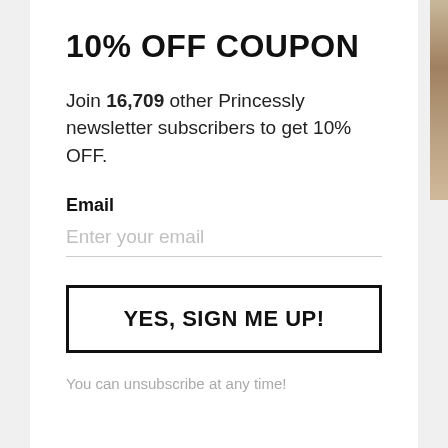10% OFF COUPON
Join 16,709 other Princessly newsletter subscribers to get 10% OFF.
Email
Enter your email
YES, SIGN ME UP!
You can unsubscribe at any time!